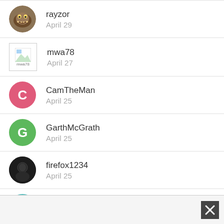rayzor
April 29
mwa78
April 27
CamTheMan
April 25
GarthMcGrath
April 25
firefox1234
April 25
austin1227
April 25